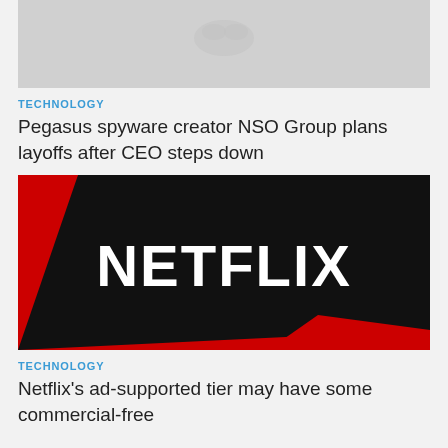[Figure (photo): Gray placeholder image at top of page (partially visible)]
TECHNOLOGY
Pegasus spyware creator NSO Group plans layoffs after CEO steps down
[Figure (logo): Netflix logo on black and red background with arrow shapes]
TECHNOLOGY
Netflix's ad-supported tier may have some commercial-free